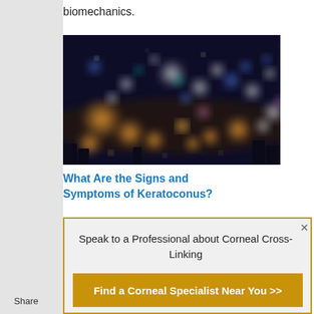biomechanics.
[Figure (photo): A blurry night cityscape with bokeh lights in blue and orange tones]
What Are the Signs and Symptoms of Keratoconus?
Speak to a Professional about Corneal Cross-Linking
Find a Corneal Specialist Near You >>
Share